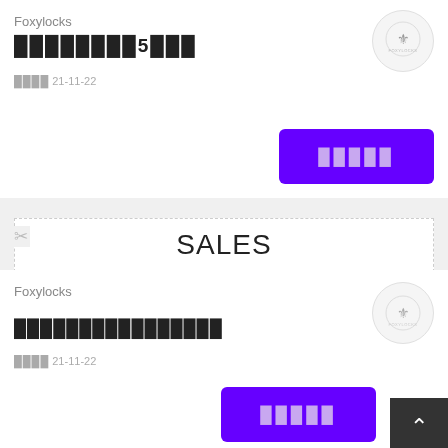Foxylocks
████████5███
████ 21-11-22
[Figure (logo): Foxylocks circular logo with crest emblem]
█████
SALES
Foxylocks
████████████████
████ 21-11-22
[Figure (logo): Foxylocks circular logo with crest emblem]
█████
£6██